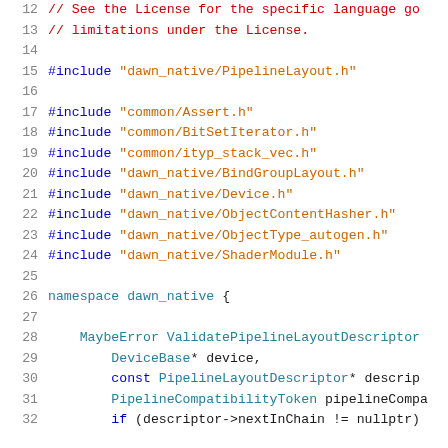Code snippet: C++ source file showing includes and namespace for dawn_native PipelineLayout, lines 12-32
12  // See the License for the specific language go
13  // limitations under the License.
14  (blank)
15  #include "dawn_native/PipelineLayout.h"
16  (blank)
17  #include "common/Assert.h"
18  #include "common/BitSetIterator.h"
19  #include "common/ityp_stack_vec.h"
20  #include "dawn_native/BindGroupLayout.h"
21  #include "dawn_native/Device.h"
22  #include "dawn_native/ObjectContentHasher.h"
23  #include "dawn_native/ObjectType_autogen.h"
24  #include "dawn_native/ShaderModule.h"
25  (blank)
26  namespace dawn_native {
27  (blank)
28      MaybeError ValidatePipelineLayoutDescriptor
29          DeviceBase* device,
30          const PipelineLayoutDescriptor* descrip
31          PipelineCompatibilityToken pipelineCompa
32          if (descriptor->nextInChain != nullptr)